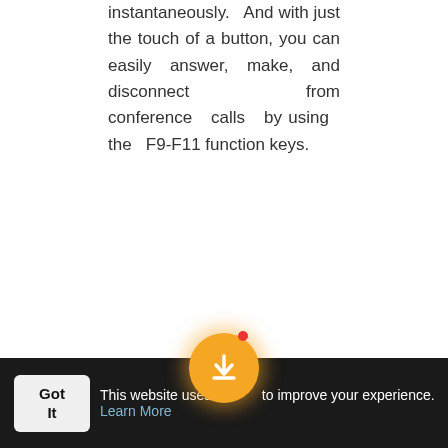instantaneously. And with just the touch of a button, you can easily answer, make, and disconnect from conference calls by using the F9-F11 function keys.
[Figure (screenshot): Progress bar showing 68% completion with orange fill and orange border]
on the task at hand
Go where you need to go—and don't worry about electrical outlets. All-day battery life on
لتجربة أفضل! حمِّل التطبيق
This website uses cookies to improve your experience. Learn More
Got It